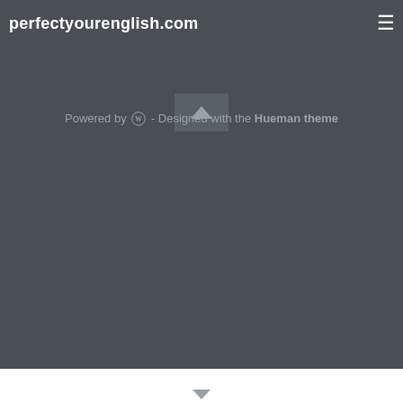perfectyourenglish.com
Powered by WordPress - Designed with the Hueman theme